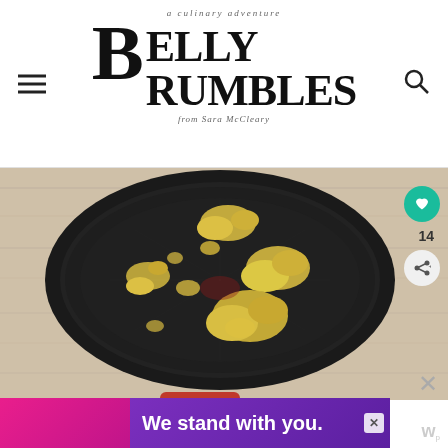a culinary adventure
BELLY RUMBLES
from Sara McCleary
[Figure (photo): Overhead view of a black non-stick frying pan with yellow scrambled egg curds scattered across its surface, placed on a rustic white wooden background. A red handle is partially visible at the bottom.]
We stand with you.